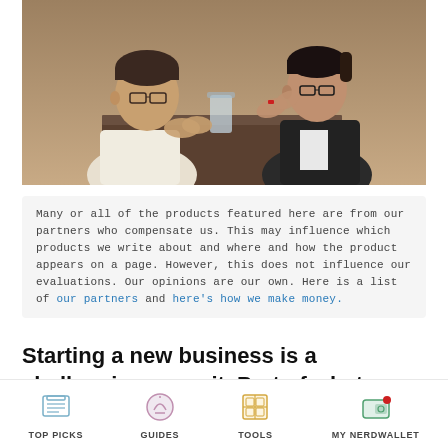[Figure (photo): Two people sitting across a table having a professional conversation. A man in a white shirt on the left faces a woman in a black blazer wearing glasses on the right, who appears to be explaining something with hand gestures. A glass pitcher and papers are on the table between them.]
Many or all of the products featured here are from our partners who compensate us. This may influence which products we write about and where and how the product appears on a page. However, this does not influence our evaluations. Our opinions are our own. Here is a list of our partners and here's how we make money.
Starting a new business is a challenging pursuit. Part of what makes it so complicated is all the legal
TOP PICKS   GUIDES   TOOLS   MY NERDWALLET